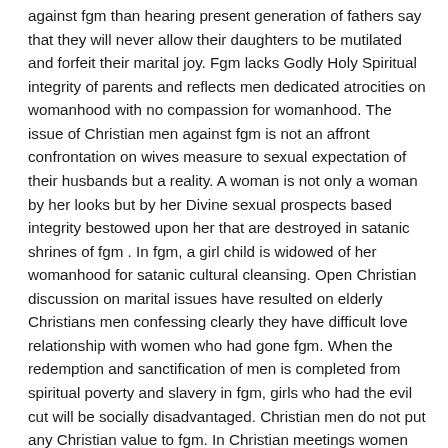against fgm than hearing present generation of fathers say that they will never allow their daughters to be mutilated and forfeit their marital joy. Fgm lacks Godly Holy Spiritual integrity of parents and reflects men dedicated atrocities on womanhood with no compassion for womanhood. The issue of Christian men against fgm is not an affront confrontation on wives measure to sexual expectation of their husbands but a reality. A woman is not only a woman by her looks but by her Divine sexual prospects based integrity bestowed upon her that are destroyed in satanic shrines of fgm . In fgm, a girl child is widowed of her womanhood for satanic cultural cleansing. Open Christian discussion on marital issues have resulted on elderly Christians men confessing clearly they have difficult love relationship with women who had gone fgm. When the redemption and sanctification of men is completed from spiritual poverty and slavery in fgm, girls who had the evil cut will be socially disadvantaged. Christian men do not put any Christian value to fgm. In Christian meetings women become agitated and extremely restless to the